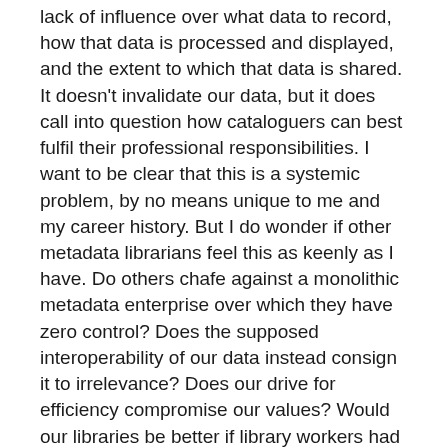lack of influence over what data to record, how that data is processed and displayed, and the extent to which that data is shared. It doesn't invalidate our data, but it does call into question how cataloguers can best fulfil their professional responsibilities. I want to be clear that this is a systemic problem, by no means unique to me and my career history. But I do wonder if other metadata librarians feel this as keenly as I have. Do others chafe against a monolithic metadata enterprise over which they have zero control? Does the supposed interoperability of our data instead consign it to irrelevance? Does our drive for efficiency compromise our values? Would our libraries be better if library workers had greater control over their data systems?
I'm lucky to be in a better place now. My new job grants me considerable agency, my health continues to gradually improve, and my bad days now are still better than my good days three months ago. But I've been an